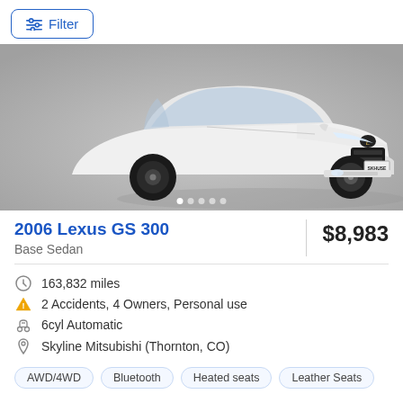Filter
[Figure (photo): White 2006 Lexus GS 300 sedan photographed from a front 3/4 angle on a gray studio background. Car has black wheels and a dealer license plate frame. Image carousel dots visible at bottom.]
2006 Lexus GS 300
$8,983
Base Sedan
163,832 miles
2 Accidents, 4 Owners, Personal use
6cyl Automatic
Skyline Mitsubishi (Thornton, CO)
AWD/4WD  Bluetooth  Heated seats  Leather Seats